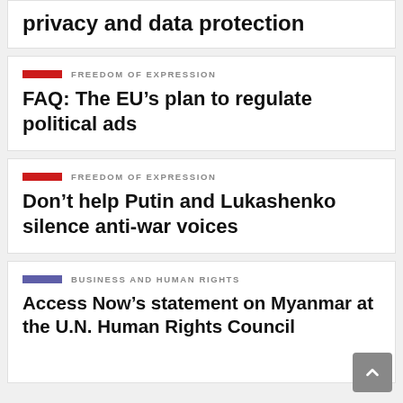privacy and data protection
FREEDOM OF EXPRESSION
FAQ: The EU's plan to regulate political ads
FREEDOM OF EXPRESSION
Don't help Putin and Lukashenko silence anti-war voices
BUSINESS AND HUMAN RIGHTS
Access Now's statement on Myanmar at the U.N. Human Rights Council